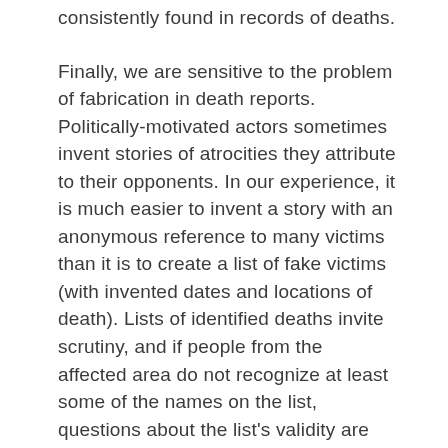consistently found in records of deaths.
Finally, we are sensitive to the problem of fabrication in death reports. Politically-motivated actors sometimes invent stories of atrocities they attribute to their opponents. In our experience, it is much easier to invent a story with an anonymous reference to many victims than it is to create a list of fake victims (with invented dates and locations of death). Lists of identified deaths invite scrutiny, and if people from the affected area do not recognize at least some of the names on the list, questions about the list's validity are quickly raised. By contrast, a vague report of many unnamed victims may be sufficient to gain at least temporary media attention. We respect journalists' efforts to verify stories, and we further respect IBC's effort to remove false reports. Our note here is simply that it is much harder to identify potentially